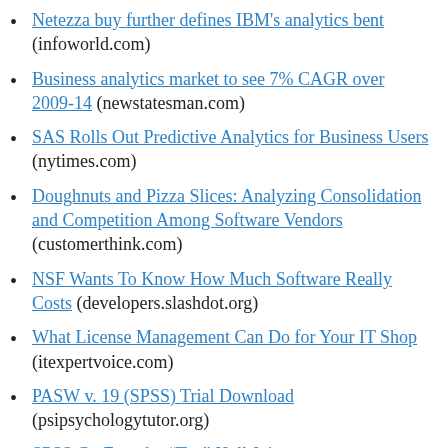Netezza buy further defines IBM's analytics bent (infoworld.com)
Business analytics market to see 7% CAGR over 2009-14 (newstatesman.com)
SAS Rolls Out Predictive Analytics for Business Users (nytimes.com)
Doughnuts and Pizza Slices: Analyzing Consolidation and Competition Among Software Vendors (customerthink.com)
NSF Wants To Know How Much Software Really Costs (developers.slashdot.org)
What License Management Can Do for Your IT Shop (itexpertvoice.com)
PASW v. 19 (SPSS) Trial Download (psipsychologytutor.org)
SPSS Co-Founder “Tex” Hull Joins